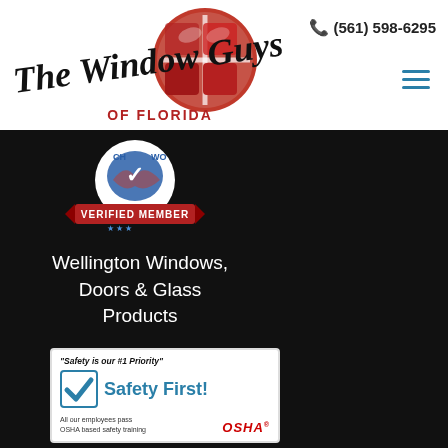[Figure (logo): The Window Guys of Florida logo with red grid circle window graphic and script/serif text]
(561) 598-6295
[Figure (logo): Verified Member badge with blue swoosh emblem and red banner reading VERIFIED MEMBER with stars]
Wellington Windows, Doors & Glass Products
[Figure (infographic): Safety First card: 'Safety is our #1 Priority' with blue checkmark, Safety First! text, 'All our employees pass OSHA based safety training' and OSHA logo]